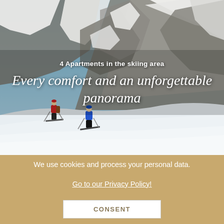[Figure (photo): Two skiers ascending a snow-covered slope with dramatic snow-capped mountain peaks in the background under a blue sky. One skier wears red, the other blue.]
4 Apartments in the skiing area
Every comfort and an unforgettable panorama
We use cookies and process your personal data.
Go to our Privacy Policy!
CONSENT